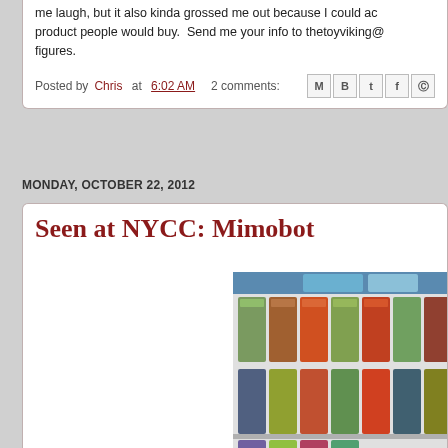me laugh, but it also kinda grossed me out because I could ac product people would buy.  Send me your info to thetoyviking@ figures.
Posted by Chris at 6:02 AM   2 comments:
MONDAY, OCTOBER 22, 2012
Seen at NYCC: Mimobot
[Figure (photo): Photo of a person with blonde hair standing in front of a pegboard display with packaged Mimobot USB drive products arranged in rows.]